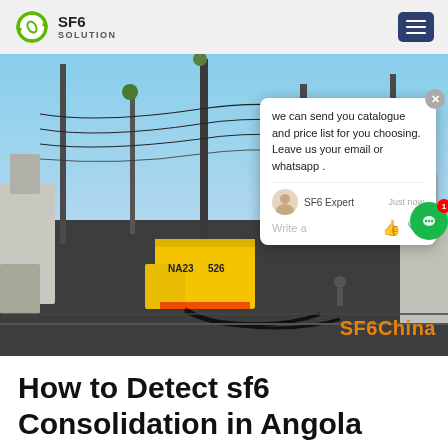SF6 SOLUTION
[Figure (photo): Photo of a yellow service truck at an electrical substation with overhead cables, industrial equipment, and a chat popup overlay. SF6China watermark in orange at bottom right.]
How to Detect sf6 Consolidation in Angola